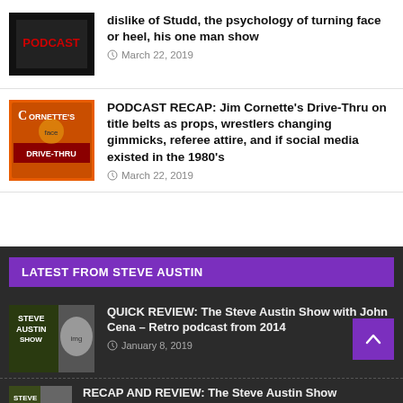[Figure (photo): Black podcast logo image top left]
dislike of Studd, the psychology of turning face or heel, his one man show
March 22, 2019
[Figure (photo): Cornette's Drive-Thru podcast logo — orange/red with illustrated face]
PODCAST RECAP: Jim Cornette's Drive-Thru on title belts as props, wrestlers changing gimmicks, referee attire, and if social media existed in the 1980's
March 22, 2019
LATEST FROM STEVE AUSTIN
[Figure (photo): Steve Austin Show podcast logo with man in black]
QUICK REVIEW: The Steve Austin Show with John Cena – Retro podcast from 2014
January 8, 2019
[Figure (photo): Steve Austin Show podcast logo partial]
RECAP AND REVIEW: The Steve Austin Show